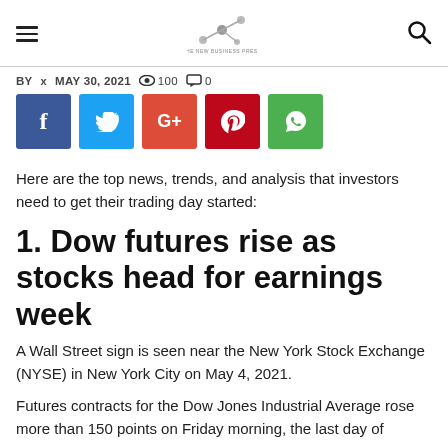The New York Business Press - navigation header with hamburger menu, logo, and search icon
BY x MAY 30, 2021 👁 100 💬 0
[Figure (other): Social sharing buttons: Facebook (blue), Twitter (light blue), Google+ (red-orange), Pinterest (red), WhatsApp (green)]
Here are the top news, trends, and analysis that investors need to get their trading day started:
1. Dow futures rise as stocks head for earnings week
A Wall Street sign is seen near the New York Stock Exchange (NYSE) in New York City on May 4, 2021.
Futures contracts for the Dow Jones Industrial Average rose more than 150 points on Friday morning, the last day of